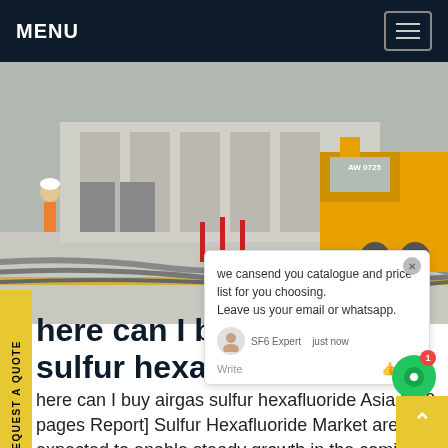MENU
[Figure (photo): Construction site with workers, industrial equipment, hoses on the ground, and a yellow truck with markings AW 0725 in the background.]
here can I buy airgas sulfur hexafluoride Asia
here can I buy airgas sulfur hexafluoride Asia,[250 pages Report] Sulfur Hexafluoride Market are expected to enable steady growth in the coming years, likely to surge at a vigorous 5.8% CAGR during